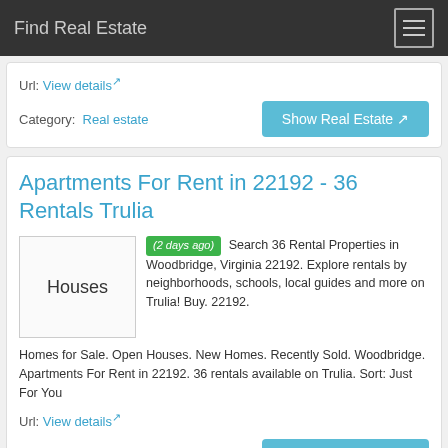Find Real Estate
Url: View details
Category: Real estate
Apartments For Rent in 22192 - 36 Rentals Trulia
(2 days ago) Search 36 Rental Properties in Woodbridge, Virginia 22192. Explore rentals by neighborhoods, schools, local guides and more on Trulia! Buy. 22192. Homes for Sale. Open Houses. New Homes. Recently Sold. Woodbridge. Apartments For Rent in 22192. 36 rentals available on Trulia. Sort: Just For You
Url: View details
Category: Homes for sale